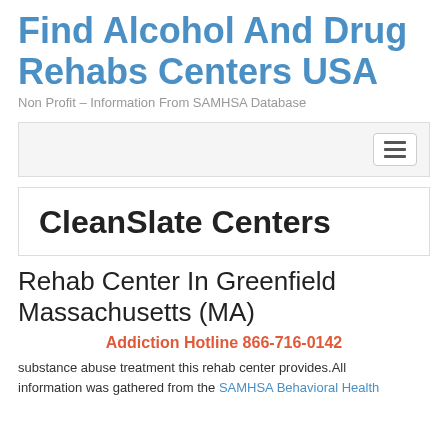Find Alcohol And Drug Rehabs Centers USA
Non Profit – Information From SAMHSA Database
[Figure (screenshot): Navigation bar with hamburger menu button on the right]
CleanSlate Centers
Rehab Center In Greenfield Massachusetts (MA)
Addiction Hotline 866-716-0142
substance abuse treatment this rehab center provides.All information was gathered from the SAMHSA Behavioral Health